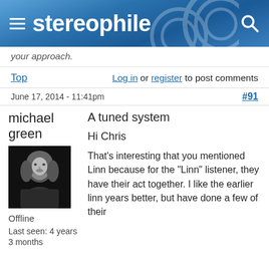stereophile
your approach.
Top   Log in or register to post comments
June 17, 2014 - 11:41pm   #91
michael green
[Figure (photo): Black and white portrait photo of user michael green]
Offline
Last seen: 4 years 3 months
A tuned system
Hi Chris
That's interesting that you mentioned Linn because for the "Linn" listener, they have their act together. I like the earlier linn years better, but have done a few of their